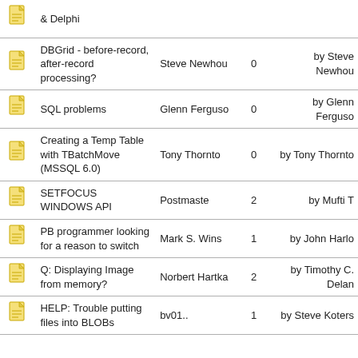|  | Title | Author | Replies | Last Post |
| --- | --- | --- | --- | --- |
| [icon] | & Delphi |  |  |  |
| [icon] | DBGrid - before-record, after-record processing? | Steve Newhou | 0 | by Steve Newhou |
| [icon] | SQL problems | Glenn Ferguso | 0 | by Glenn Ferguso |
| [icon] | Creating a Temp Table with TBatchMove (MSSQL 6.0) | Tony Thornto | 0 | by Tony Thornto |
| [icon] | SETFOCUS WINDOWS API | Postmaste | 2 | by Mufti T |
| [icon] | PB programmer looking for a reason to switch | Mark S. Wins | 1 | by John Harlo |
| [icon] | Q: Displaying Image from memory? | Norbert Hartka | 2 | by Timothy C. Delan |
| [icon] | HELP: Trouble putting files into BLOBs | bv01.. | 1 | by Steve Koters |